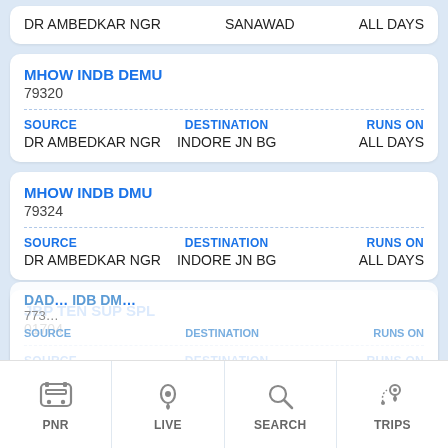DR AMBEDKAR NGR   SANAWAD   ALL DAYS
MHOW INDB DEMU
79320
SOURCE: DR AMBEDKAR NGR  DESTINATION: INDORE JN BG  RUNS ON: ALL DAYS
MHOW INDB DMU
79324
SOURCE: DR AMBEDKAR NGR  DESTINATION: INDORE JN BG  RUNS ON: ALL DAYS
JBP TEN SUP SPL
01704
SOURCE: DR AMBEDKAR NGR  DESTINATION: REWA  RUNS ON: MON, WED, FRI
DAD... IDB DM... 7735...
PNR   LIVE   SEARCH   TRIPS